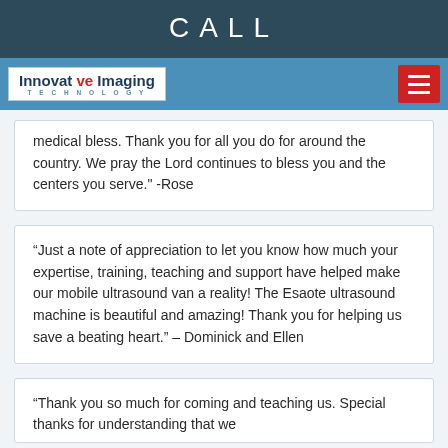CALL
[Figure (logo): Innovative Imaging Technology logo with navigation bar]
medical bless. Thank you for all you do for around the country. We pray the Lord continues to bless you and the centers you serve." -Rose
“Just a note of appreciation to let you know how much your expertise, training, teaching and support have helped make our mobile ultrasound van a reality! The Esaote ultrasound machine is beautiful and amazing! Thank you for helping us save a beating heart.” – Dominick and Ellen
“Thank you so much for coming and teaching us. Special thanks for understanding that we